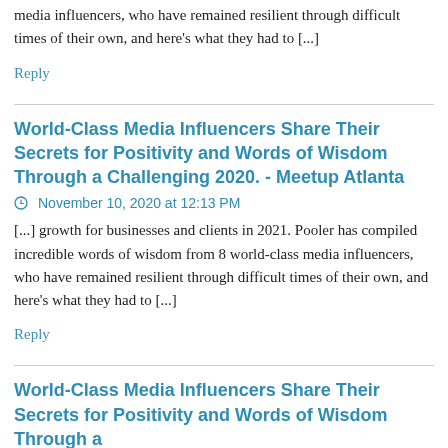media influencers, who have remained resilient through difficult times of their own, and here's what they had to [...]
Reply
World-Class Media Influencers Share Their Secrets for Positivity and Words of Wisdom Through a Challenging 2020. - Meetup Atlanta
November 10, 2020 at 12:13 PM
[...] growth for businesses and clients in 2021. Pooler has compiled incredible words of wisdom from 8 world-class media influencers, who have remained resilient through difficult times of their own, and here's what they had to [...]
Reply
World-Class Media Influencers Share Their Secrets for Positivity and Words of Wisdom Through a